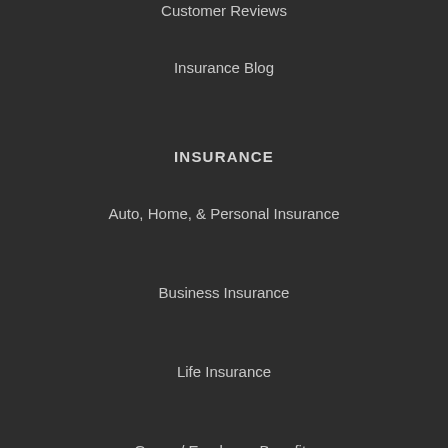Customer Reviews
Insurance Blog
INSURANCE
Auto, Home, & Personal Insurance
Business Insurance
Life Insurance
Group / Employee Benefits
POLICY SERVICE